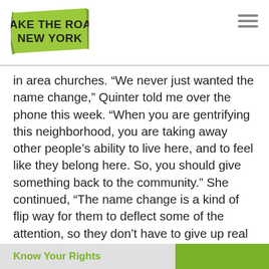Make The Road New York
in area churches. “We never just wanted the name change,” Quinter told me over the phone this week. “When you are gentrifying this neighborhood, you are taking away other people’s ability to live here, and to feel like they belong here. So, you should give something back to the community.” She continued, “The name change is a kind of flip way for them to deflect some of the attention, so they don’t have to give up real concessions.”
“If Colony had to give up the amount that it saved from 421-a, you could buy some buildings with that, and they could be community land
Know Your Rights